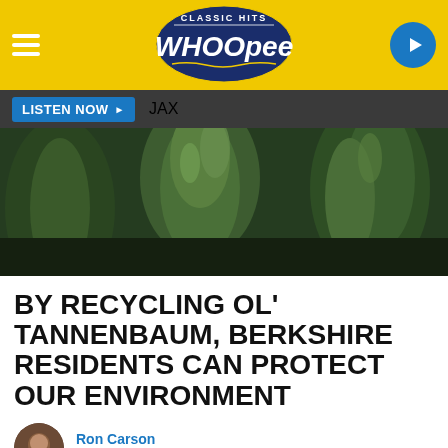[Figure (logo): Whoopee Classic Hits radio station header with yellow background, hamburger menu, Whoopee logo, and blue play button]
LISTEN NOW ▶   JAX
[Figure (photo): Close-up photo of green pine/evergreen tree branches, likely a Christmas tree]
BY RECYCLING OL' TANNENBAUM, BERKSHIRE RESIDENTS CAN PROTECT OUR ENVIRONMENT
Ron Carson
Published: January 13, 2022
f Share    Tweet